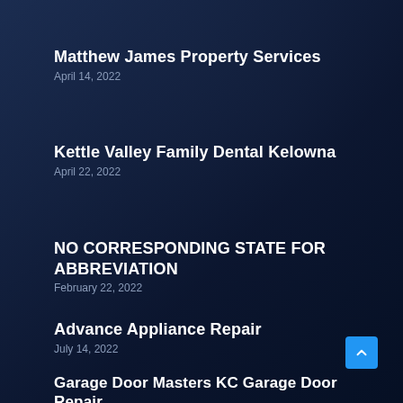Matthew James Property Services
April 14, 2022
Kettle Valley Family Dental Kelowna
April 22, 2022
NO CORRESPONDING STATE FOR ABBREVIATION
February 22, 2022
Advance Appliance Repair
July 14, 2022
Garage Door Masters KC Garage Door Repair
August 18, 2022